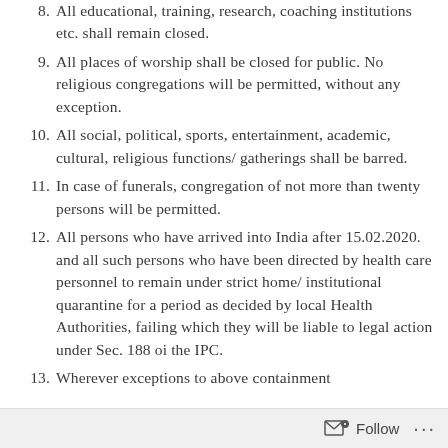8. All educational, training, research, coaching institutions etc. shall remain closed.
9. All places of worship shall be closed for public. No religious congregations will be permitted, without any exception.
10. All social, political, sports, entertainment, academic, cultural, religious functions/ gatherings shall be barred.
11. In case of funerals, congregation of not more than twenty persons will be permitted.
12. All persons who have arrived into India after 15.02.2020. and all such persons who have been directed by health care personnel to remain under strict home/ institutional quarantine for a period as decided by local Health Authorities, failing which they will be liable to legal action under Sec. 188 oi the IPC.
13. Wherever exceptions to above containment
Follow ...